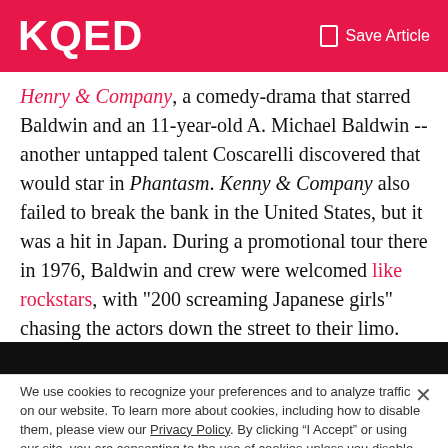KQED  Save Article
Henry & Company, a comedy-drama that starred Baldwin and an 11-year-old A. Michael Baldwin -- another untapped talent Coscarelli discovered that would star in Phantasm. Kenny & Company also failed to break the bank in the United States, but it was a hit in Japan. During a promotional tour there in 1976, Baldwin and crew were welcomed like rockstars, with "200 screaming Japanese girls" chasing the actors down the street to their limo.
[Figure (photo): Dark media player bar at bottom of article]
We use cookies to recognize your preferences and to analyze traffic on our website. To learn more about cookies, including how to disable them, please view our Privacy Policy. By clicking “I Accept” or using our site, you are consenting to the use of cookies unless you disable them.